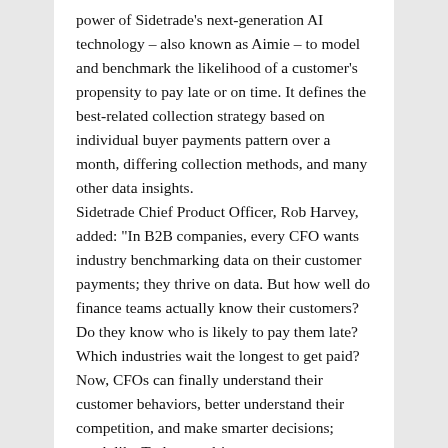power of Sidetrade's next-generation AI technology – also known as Aimie – to model and benchmark the likelihood of a customer's propensity to pay late or on time. It defines the best-related collection strategy based on individual buyer payments pattern over a month, differing collection methods, and many other data insights.
Sidetrade Chief Product Officer, Rob Harvey, added: "In B2B companies, every CFO wants industry benchmarking data on their customer payments; they thrive on data. But how well do finance teams actually know their customers? Do they know who is likely to pay them late? Which industries wait the longest to get paid? Now, CFOs can finally understand their customer behaviors, better understand their competition, and make smarter decisions; much like Tesla uses driver